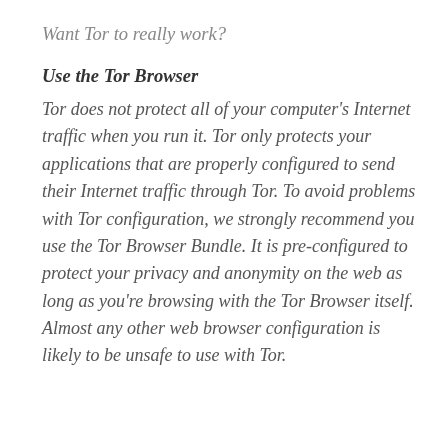Want Tor to really work?
Use the Tor Browser
Tor does not protect all of your computer's Internet traffic when you run it. Tor only protects your applications that are properly configured to send their Internet traffic through Tor. To avoid problems with Tor configuration, we strongly recommend you use the Tor Browser Bundle. It is pre-configured to protect your privacy and anonymity on the web as long as you're browsing with the Tor Browser itself. Almost any other web browser configuration is likely to be unsafe to use with Tor.